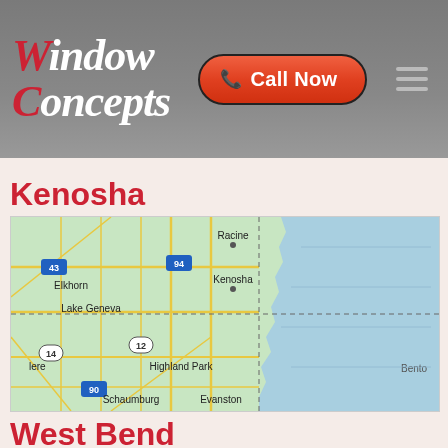Window Concepts — Call Now
Kenosha
[Figure (map): Google Maps view showing Kenosha, Racine, Elkhorn, Lake Geneva, Highland Park, Evanston, Schaumburg area with Lake Michigan to the east. Interstate markers 43, 94, 12, 14, 90 visible.]
West Bend